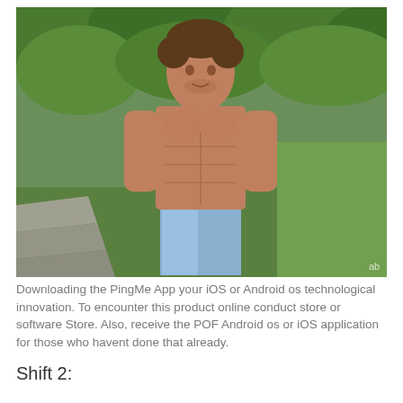[Figure (photo): A shirtless athletic man with a muscular build wearing blue/white board shorts, walking outdoors in a tropical garden setting with green trees and grass in the background. A small watermark 'ab' is visible in the bottom right corner of the image.]
Downloading the PingMe App your iOS or Android os technological innovation. To encounter this product online conduct store or software Store. Also, receive the POF Android os or iOS application for those who havent done that already.
Shift 2: